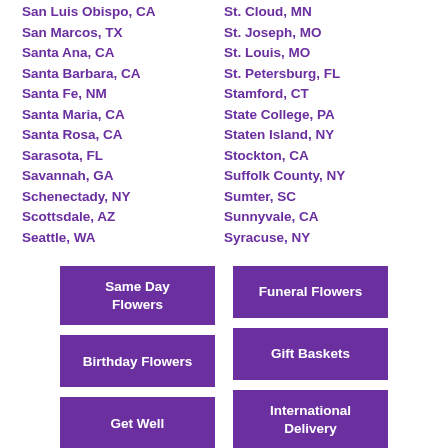San Luis Obispo, CA
St. Cloud, MN
San Marcos, TX
St. Joseph, MO
Santa Ana, CA
St. Louis, MO
Santa Barbara, CA
St. Petersburg, FL
Santa Fe, NM
Stamford, CT
Santa Maria, CA
State College, PA
Santa Rosa, CA
Staten Island, NY
Sarasota, FL
Stockton, CA
Savannah, GA
Suffolk County, NY
Schenectady, NY
Sumter, SC
Scottsdale, AZ
Sunnyvale, CA
Seattle, WA
Syracuse, NY
Same Day Flowers
Funeral Flowers
Birthday Flowers
Gift Baskets
Get Well
International Delivery